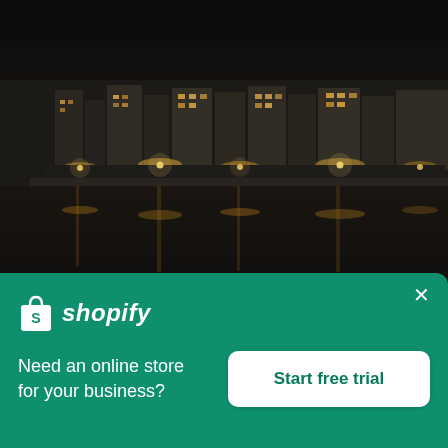[Figure (photo): Night photograph of a European riverside cityscape with illuminated buildings reflecting on water, dark sky. Resembles Florence, Italy with historic buildings lit up at night.]
Cathedral Of Santa Maria Del Fiore At Night
[Figure (logo): Shopify logo — white shopping bag icon with an 'S' shape and white italic text 'shopify']
Need an online store for your business?
Start free trial